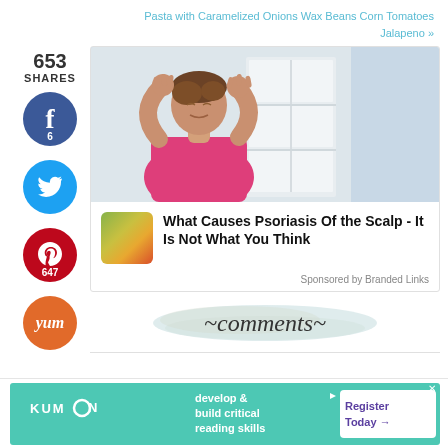Pasta with Caramelized Onions Wax Beans Corn Tomatoes Jalapeno »
653 SHARES
[Figure (infographic): Social sharing sidebar with Facebook (6), Twitter, Pinterest (647), Yummly buttons]
[Figure (photo): Woman in pink polo shirt scratching her scalp with both hands, looking frustrated, indoor background with white shelving]
What Causes Psoriasis Of the Scalp - It Is Not What You Think
Sponsored by Branded Links
~comments~
[Figure (infographic): Kumon advertisement: develop & build critical reading skills — Register Today arrow button]